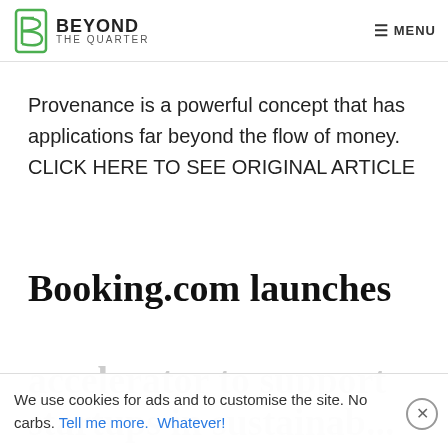BEYOND THE QUARTER | MENU
Provenance is a powerful concept that has applications far beyond the flow of money. CLICK HERE TO SEE ORIGINAL ARTICLE
Booking.com launches
accelerator to support startups in sustainab...
We use cookies for ads and to customise the site. No carbs. Tell me more. Whatever!